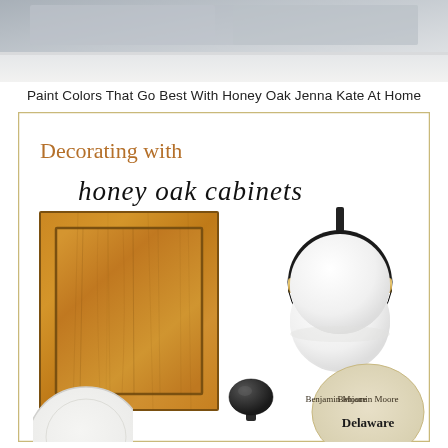[Figure (photo): Top portion of kitchen with white quartz countertop and modern cabinetry, cropped photo]
Paint Colors That Go Best With Honey Oak Jenna Kate At Home
[Figure (infographic): Design mood board titled 'Decorating with honey oak cabinets' showing: a honey oak cabinet door sample, a black and gold dome pendant light, a dark cabinet knob, a Benjamin Moore Delaware paint swatch, and a white ceramic plate]